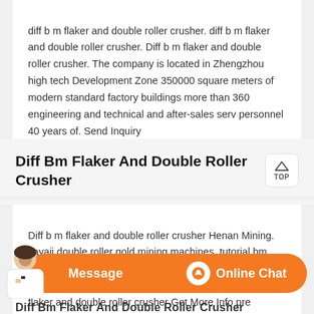diff b m flaker and double roller crusher. diff b m flaker and double roller crusher. Diff b m flaker and double roller crusher. The company is located in Zhengzhou high tech Development Zone 350000 square meters of modern standard factory buildings more than 360 engineering and technical and after-sales serv personnel 40 years of. Send Inquiry
Diff Bm Flaker And Double Roller Crusher
Diff b m flaker and double roller crusher Henan Mining. sayaji double roller gold mining machines. tutorial bm machines of gold crusher barmac impactor type bm 300 cs series cone crusher spring cone crusher hpc diff bm flaker and double roller crusher Get More Info pre lepidolite mobile crusher Screen Machine Industries
[Figure (screenshot): Orange chat bar at bottom with Message button on left and Online Chat button on right, plus a customer service avatar on the far left]
Diff Bm Flaker And Double Roller Crusher